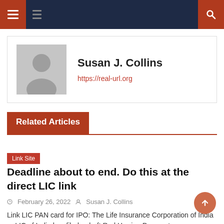Navigation bar with hamburger menu and search icon
Susan J. Collins
https://real-url.org
Related Articles
Link Site
Deadline about to end. Do this at the direct LIC link
February 26, 2022   Susan J. Collins
Link LIC PAN card for IPO: The Life Insurance Corporation of India or LIC of India has filed a draft Red Herring Prospectus